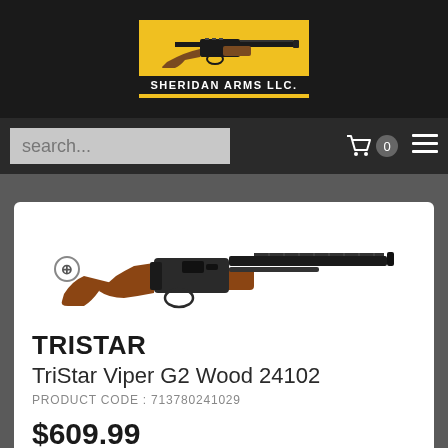[Figure (logo): Sheridan Arms LLC logo with yellow background, gun silhouette, and company name text]
[Figure (photo): TriStar Viper G2 Wood 24102 semi-automatic shotgun with wood stock, dark barrel]
TRISTAR
TriStar Viper G2 Wood 24102
PRODUCT CODE : 713780241029
$609.99